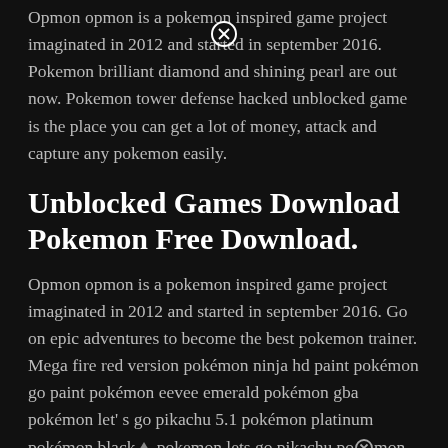Opmon opmon is a pokemon inspired game project imaginated in 2012 and started in september 2016. Pokemon brilliant diamond and shining pearl are out now. Pokemon tower defense hacked unblocked game is the place you can get a lot of money, attack and capture any pokemon easily.
Unblocked Games Download Pokemon Free Download.
Opmon opmon is a pokemon inspired game project imaginated in 2012 and started in september 2016. Go on epic adventures to become the best pokemon trainer. Mega fire red version pokémon ninja hd paint pokémon go paint pokémon eevee emerald pokémon gba pokémon let' s go pikachu 5.1 pokémon platinum pokémon black pokemon lets go pikachu pokemon mega delta pokémon: